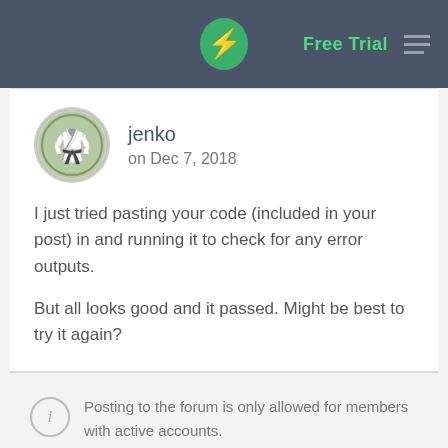Free Trial
jenko
on Dec 7, 2018
I just tried pasting your code (included in your post) in and running it to check for any error outputs.

But all looks good and it passed. Might be best to try it again?
Posting to the forum is only allowed for members with active accounts.
Please sign in or sign up to post.